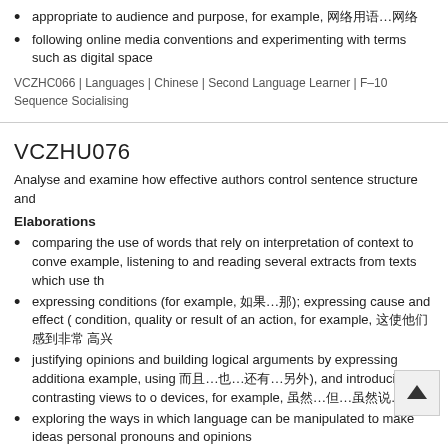appropriate to audience and purpose, for example, 网络用语…网络
following online media conventions and experimenting with terms such as digital space
VCZHC066 | Languages | Chinese | Second Language Learner | F–10 Sequence Socialising
VCZHU076
Analyse and examine how effective authors control sentence structure and
Elaborations
comparing the use of words that rely on interpretation of context to convey example, listening to and reading several extracts from texts which use th
expressing conditions (for example, 如果…那); expressing cause and effect ( condition, quality or result of an action, for example, 这使他们 感到非常 高兴
justifying opinions and building logical arguments by expressing additiona example, using 而且…也…还有…另外), and introducing contrasting views to o devices, for example, 虽然…但…虽然说…可…
exploring the ways in which language can be manipulated to make ideas personal pronouns and opinions
examining the use of noun phrases in Chinese and experimenting with o communication
experimenting with the use of 成语 and famous sayings to substa ea
experimenting with 了 as a subject modifier to express ideas tha co example, 网络用语网络